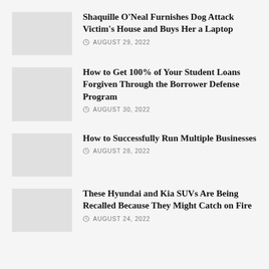Shaquille O'Neal Furnishes Dog Attack Victim's House and Buys Her a Laptop
AUGUST 29, 2022
How to Get 100% of Your Student Loans Forgiven Through the Borrower Defense Program
AUGUST 30, 2022
How to Successfully Run Multiple Businesses
AUGUST 28, 2022
These Hyundai and Kia SUVs Are Being Recalled Because They Might Catch on Fire
AUGUST 24, 2022